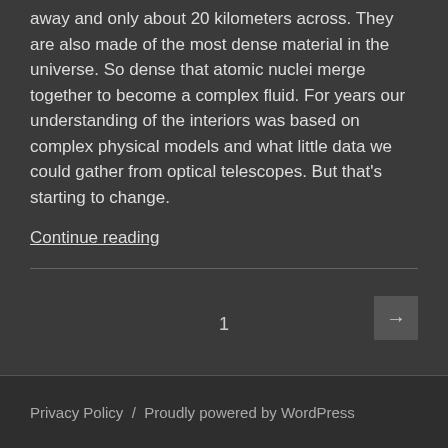away and only about 20 kilometers across. They are also made of the most dense material in the universe. So dense that atomic nuclei merge together to become a complex fluid. For years our understanding of the interiors was based on complex physical models and what little data we could gather from optical telescopes. But that's starting to change.
Continue reading
Privacy Policy / Proudly powered by WordPress